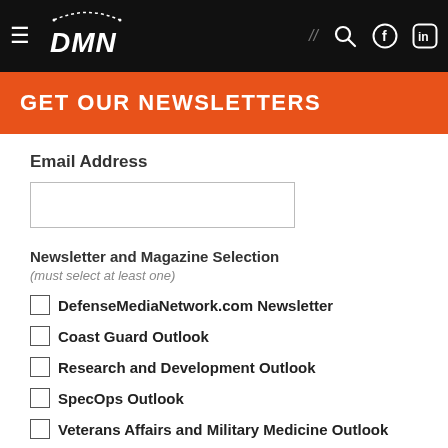DMN - Defense Media Network
GET OUR NEWSLETTERS
Email Address
Newsletter and Magazine Selection
(must select at least one)
DefenseMediaNetwork.com Newsletter
Coast Guard Outlook
Research and Development Outlook
SpecOps Outlook
Veterans Affairs and Military Medicine Outlook
Subscribe